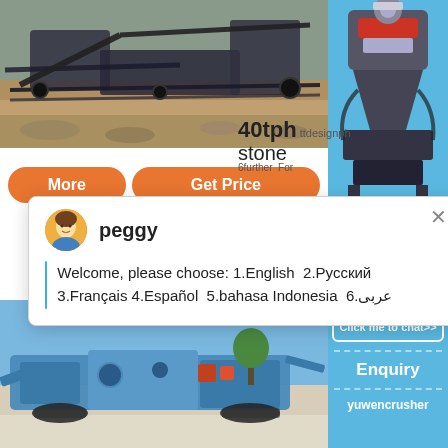[Figure (photo): Stone crusher machine operating at a quarry/mining site with rocky terrain and conveyor belts visible]
40tph
stone
[Figure (screenshot): Live chat popup with avatar of agent 'peggy' and welcome message in multiple languages]
More
Get Price
[Figure (photo): Blue mobile stone crusher machine at a quarry with clear blue sky background]
[Figure (photo): Cone crusher machine on the right side panel]
1
Click me to chat>>
Enquiry
yuwencrusher